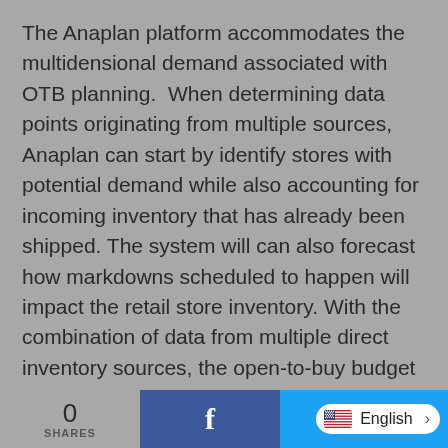The Anaplan platform accommodates the multidensional demand associated with OTB planning.  When determining data points originating from multiple sources, Anaplan can start by identify stores with potential demand while also accounting for incoming inventory that has already been shipped. The system will can also forecast how markdowns scheduled to happen will impact the retail store inventory. With the combination of data from multiple direct inventory sources, the open-to-buy budget can be effectively spent or saved accordingly. Anaplan's Connected Planning...
0 SHARES | Facebook share | English